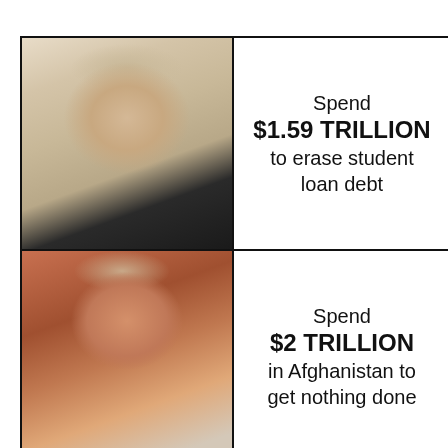[Figure (photo): Two-panel meme. Top panel: displeased/unamused woman face (neutral/annoyed expression, blonde hair, dark top) on the left, with text on the right reading 'Spend $1.59 TRILLION to erase student loan debt'. Bottom panel: same or similar woman with wide-eyed surprised/excited expression on the left, with text on the right reading 'Spend $2 TRILLION in Afghanistan to get nothing done'.]